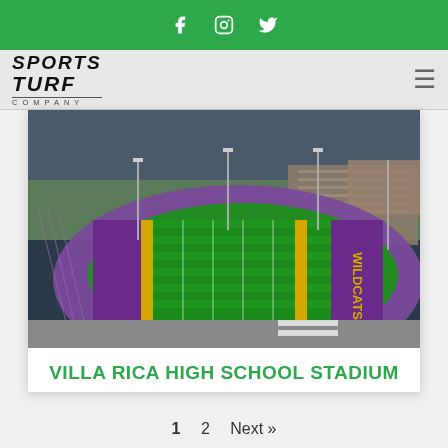Sports Turf Company - social icons: Facebook, Instagram, Twitter
[Figure (logo): Sports Turf Company logo in top-left of navigation bar]
[Figure (photo): Aerial view of Villa Rica High School Stadium showing green turf field with purple and gold WILDCATS end zone, purple running track, and bleachers in background]
VILLA RICA HIGH SCHOOL STADIUM
1  2  Next »